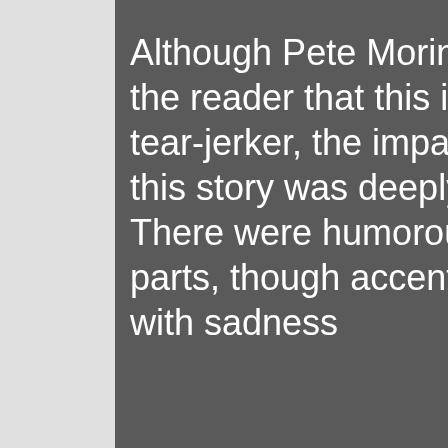Although Pete Morin alerts the reader that this is a tear-jerker, the impact of this story was deeply felt. There were humorous parts, though accented with sadness of the kind...